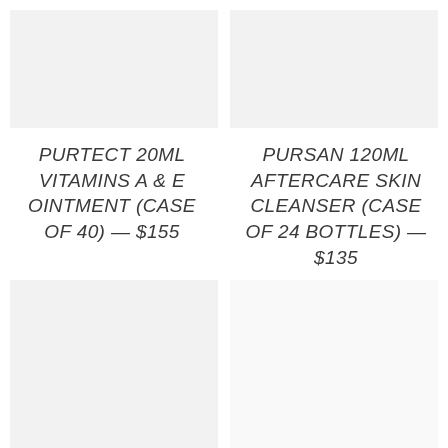[Figure (photo): Product image placeholder - top left, light gray background]
[Figure (photo): Product image placeholder - top right, light gray background]
PURTECT 20ML VITAMINS A & E OINTMENT (CASE OF 40) — $155
PURSAN 120ML AFTERCARE SKIN CLEANSER (CASE OF 24 BOTTLES) — $135
[Figure (photo): Product image placeholder - bottom left, light gray background]
[Figure (photo): Product image placeholder - bottom right, white/light background]